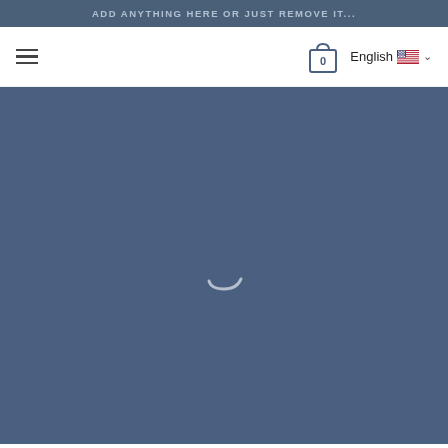ADD ANYTHING HERE OR JUST REMOVE IT...
[Figure (screenshot): Navigation bar with hamburger menu on left, shopping bag icon with 0 count and English language selector with US flag on right]
[Figure (illustration): Loading spinner arc on dark blue-grey background]